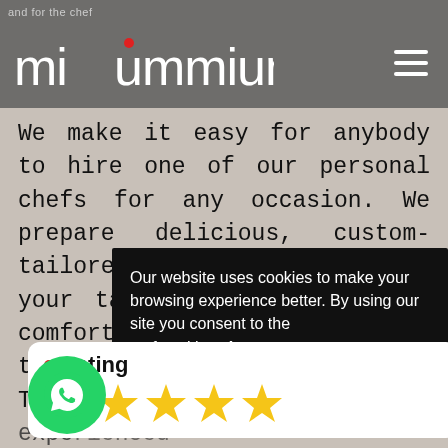miummium
We make it easy for anybody to hire one of our personal chefs for any occasion. We prepare delicious, custom-tailored dishes according to your tastes to enjoy in the comfort of your home. Imagine tasting gourmet cuisine from Torcy prepared by an experienced chef in your own kitchen, it is an unforgettable experience that is sure to impress your guests to...
Our website uses cookies to make your browsing experience better. By using our site you consent to the use of cookies. Learn more
Yes
[Figure (other): Rating card with 5 gold stars and WhatsApp contact button]